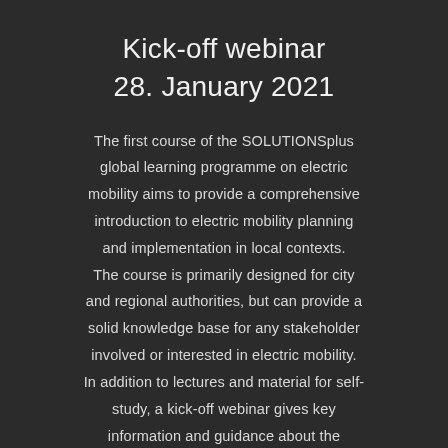Kick-off webinar
28. January 2021
The first course of the SOLUTIONSplus global learning programme on electric mobility aims to provide a comprehensive introduction to electric mobility planning and implementation in local contexts. The course is primarily designed for city and regional authorities, but can provide a solid knowledge base for any stakeholder involved or interested in electric mobility. In addition to lectures and material for self-study, a kick-off webinar gives key information and guidance about the learning programme and the